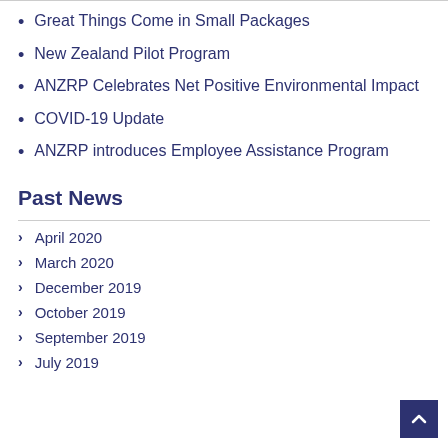Great Things Come in Small Packages
New Zealand Pilot Program
ANZRP Celebrates Net Positive Environmental Impact
COVID-19 Update
ANZRP introduces Employee Assistance Program
Past News
April 2020
March 2020
December 2019
October 2019
September 2019
July 2019